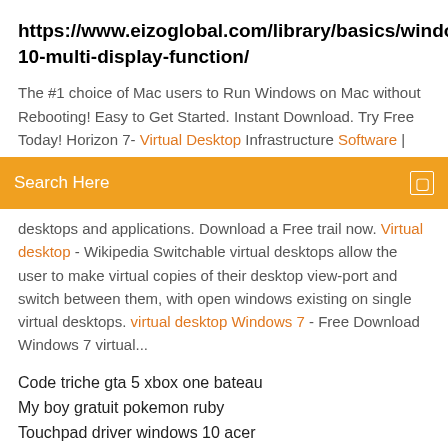https://www.eizoglobal.com/library/basics/windows-10-multi-display-function/
The #1 choice of Mac users to Run Windows on Mac without Rebooting! Easy to Get Started. Instant Download. Try Free Today! Horizon 7- Virtual Desktop Infrastructure Software |
[Figure (screenshot): Orange search bar with text 'Search Here' and a small icon on the right]
desktops and applications. Download a Free trail now. Virtual desktop - Wikipedia Switchable virtual desktops allow the user to make virtual copies of their desktop view-port and switch between them, with open windows existing on single virtual desktops. virtual desktop Windows 7 - Free Download Windows 7 virtual...
Code triche gta 5 xbox one bateau
My boy gratuit pokemon ruby
Touchpad driver windows 10 acer